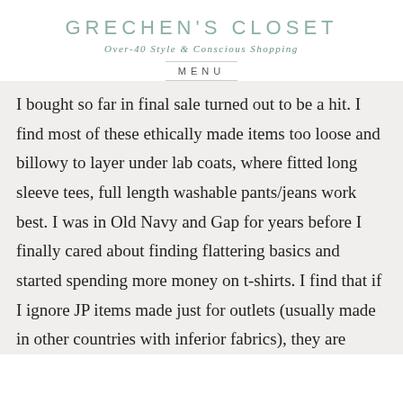GRECHEN'S CLOSET
Over-40 Style & Conscious Shopping
MENU
I bought so far in final sale turned out to be a hit. I find most of these ethically made items too loose and billowy to layer under lab coats, where fitted long sleeve tees, full length washable pants/jeans work best. I was in Old Navy and Gap for years before I finally cared about finding flattering basics and started spending more money on t-shirts. I find that if I ignore JP items made just for outlets (usually made in other countries with inferior fabrics), they are